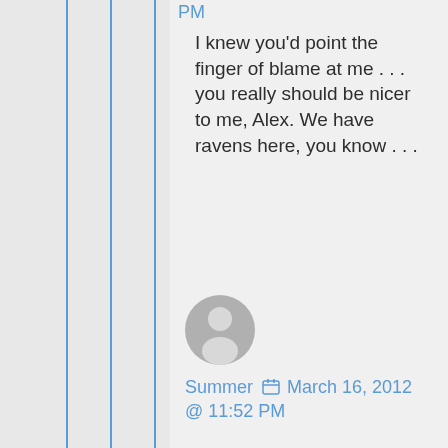PM
I knew you'd point the finger of blame at me . . . you really should be nicer to me, Alex. We have ravens here, you know . . .
[Figure (illustration): Generic user avatar silhouette in gray circle]
Summer  March 16, 2012 @ 11:52 PM